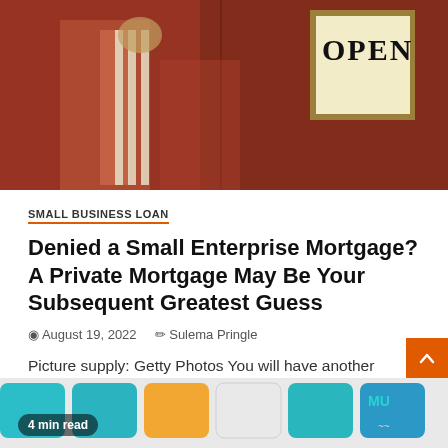[Figure (photo): Person in red apron holding an OPEN sign, viewed through a glass door/window]
SMALL BUSINESS LOAN
Denied a Small Enterprise Mortgage? A Private Mortgage May Be Your Subsequent Greatest Guess
August 19, 2022   Sulema Pringle
Picture supply: Getty Photos You will have another choice for getting your enterprise off the bottom. Key factors Small enterprise...
[Figure (photo): Colorful calculator keys including teal, yellow and white buttons, with '4 min read' badge overlay]